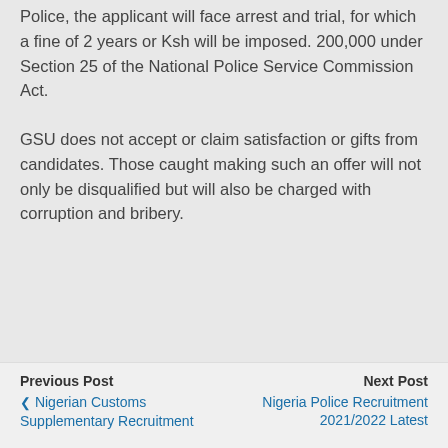Police, the applicant will face arrest and trial, for which a fine of 2 years or Ksh will be imposed. 200,000 under Section 25 of the National Police Service Commission Act.
GSU does not accept or claim satisfaction or gifts from candidates. Those caught making such an offer will not only be disqualified but will also be charged with corruption and bribery.
Previous Post | Nigerian Customs Supplementary Recruitment | Next Post | Nigeria Police Recruitment 2021/2022 Latest